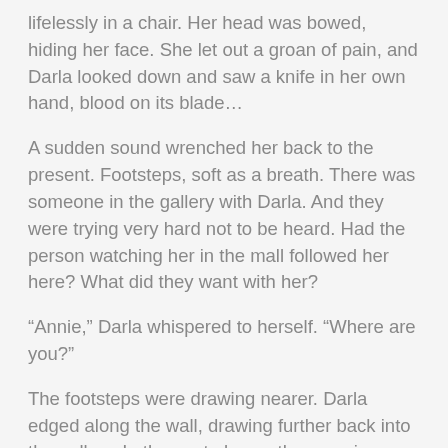lifelessly in a chair. Her head was bowed, hiding her face. She let out a groan of pain, and Darla looked down and saw a knife in her own hand, blood on its blade…
A sudden sound wrenched her back to the present. Footsteps, soft as a breath. There was someone in the gallery with Darla. And they were trying very hard not to be heard. Had the person watching her in the mall followed her here? What did they want with her?
“Annie,” Darla whispered to herself. “Where are you?”
The footsteps were drawing nearer. Darla edged along the wall, drawing further back into the gallery. In the next alcove, the oversize doll's house sat in the middle of the room. Darla crept over to it and opened up the front, pulling her knees up to her chest and squashing herself inside. In the darkness it would be almost impossible to see her without looking closely through one of the windows. It would have to be enough.
Darla waited. Seconds stretched out into minutes. The